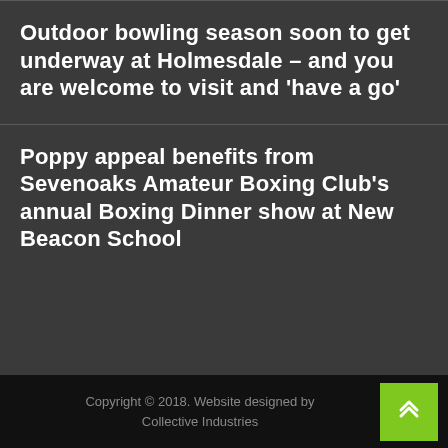Outdoor bowling season soon to get underway at Holmesdale – and you are welcome to visit and 'have a go'
Poppy appeal benefits from Sevenoaks Amateur Boxing Club's annual Boxing Dinner show at New Beacon School
Copyright © 2018. Website designed by Collective Industries